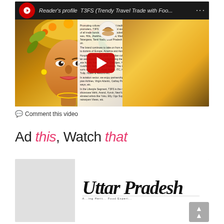[Figure (screenshot): YouTube-style video embed showing T3FS (Trendy Travel Trade with Food) video with play button, colorful decorative face thumbnail, magazine overlay text, and Reader's profile italic header]
Comment this video
Ad this, Watch that
[Figure (photo): Uttar Pradesh calligraphic logo/banner in black script on white background with light gray surrounding area, partial text below reading 'A...ing Herit... Food Experi...']